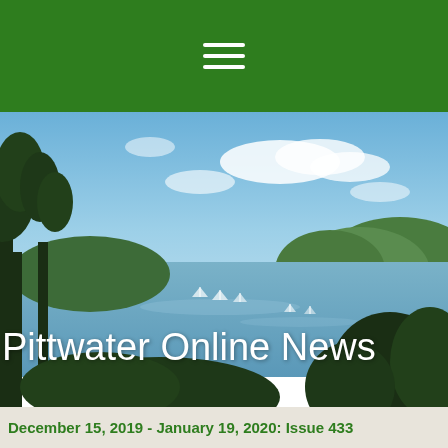[Figure (photo): Aerial/elevated landscape photo of Pittwater estuary with trees in foreground, blue water with sailboats, vegetated hills, and blue sky with clouds in the background.]
Pittwater Online News
December 15, 2019 - January 19, 2020: Issue 433